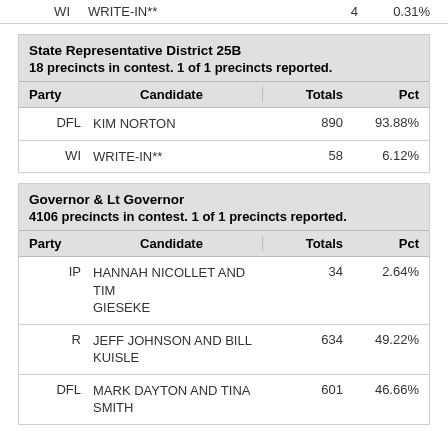| Party | Candidate | Totals | Pct |
| --- | --- | --- | --- |
| WI | WRITE-IN** | 4 | 0.31% |
State Representative District 25B
18 precincts in contest. 1 of 1 precincts reported.
| Party | Candidate | Totals | Pct |
| --- | --- | --- | --- |
| DFL | KIM NORTON | 890 | 93.88% |
| WI | WRITE-IN** | 58 | 6.12% |
Governor & Lt Governor
4106 precincts in contest. 1 of 1 precincts reported.
| Party | Candidate | Totals | Pct |
| --- | --- | --- | --- |
| IP | HANNAH NICOLLET AND TIM GIESEKE | 34 | 2.64% |
| R | JEFF JOHNSON AND BILL KUISLE | 634 | 49.22% |
| DFL | MARK DAYTON AND TINA SMITH | 601 | 46.66% |